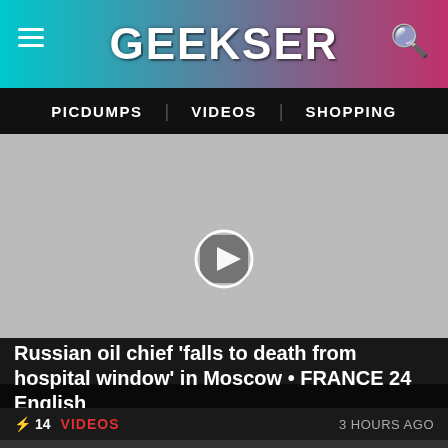GEEKSER
PICDUMPS | VIDEOS | SHOPPING
[Figure (screenshot): Video thumbnail with play button circle overlay on grey background]
Russian oil chief ‘falls to death from hospital window’ in Moscow • FRANCE 24 English
⚡ 14   VIDEOS   3 HOURS AGO